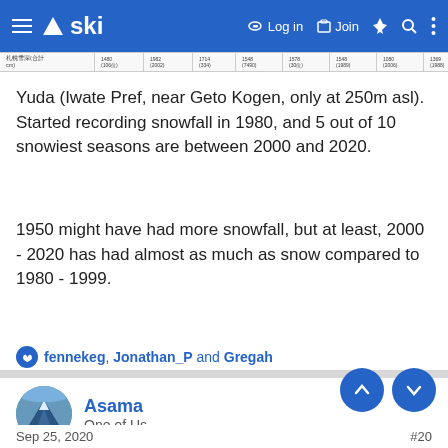ski — Log in  Join
| 札幌雪深(合計cm) | 1480 (106位) | 1982 (2002) | 1714 (334) | 1548 (7490) | 1578 (30位) | 1548 (1989) | 1080 (2006) | 1369 (1988) | 1876 (30位) | 1190 (1999) |
Yuda (Iwate Pref, near Geto Kogen, only at 250m asl). Started recording snowfall in 1980, and 5 out of 10 snowiest seasons are between 2000 and 2020.
1950 might have had more snowfall, but at least, 2000 - 2020 has had almost as much as snow compared to 1980 - 1999.
fennekeg, Jonathan_P and Gregah
Asama
One of Us
Sep 25, 2020
#20